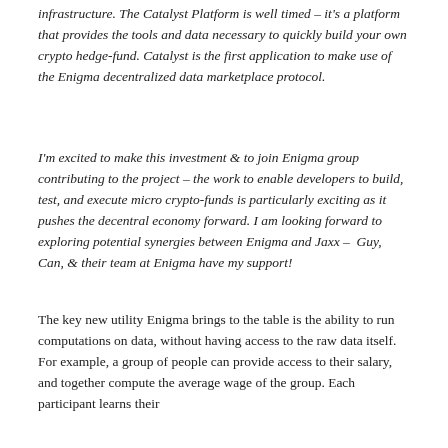infrastructure. The Catalyst Platform is well timed – it's a platform that provides the tools and data necessary to quickly build your own crypto hedge-fund. Catalyst is the first application to make use of the Enigma decentralized data marketplace protocol.
I'm excited to make this investment & to join Enigma group contributing to the project – the work to enable developers to build, test, and execute micro crypto-funds is particularly exciting as it pushes the decentral economy forward. I am looking forward to exploring potential synergies between Enigma and Jaxx – Guy, Can, & their team at Enigma have my support!
The key new utility Enigma brings to the table is the ability to run computations on data, without having access to the raw data itself. For example, a group of people can provide access to their salary, and together compute the average wage of the group. Each participant learns their